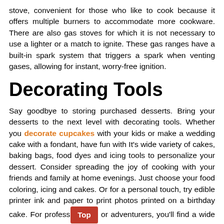stove, convenient for those who like to cook because it offers multiple burners to accommodate more cookware. There are also gas stoves for which it is not necessary to use a lighter or a match to ignite. These gas ranges have a built-in spark system that triggers a spark when venting gases, allowing for instant, worry-free ignition.
Decorating Tools
Say goodbye to storing purchased desserts. Bring your desserts to the next level with decorating tools. Whether you decorate cupcakes with your kids or make a wedding cake with a fondant, have fun with It's wide variety of cakes, baking bags, food dyes and icing tools to personalize your dessert. Consider spreading the joy of cooking with your friends and family at home evenings. Just choose your food coloring, icing and cakes. Or for a personal touch, try edible printer ink and paper to print photos printed on a birthday cake. For professionals or adventurers, you'll find a wide selection of carving tools, knives and molds from popular brands such as Wilton, Ateco, Norpro